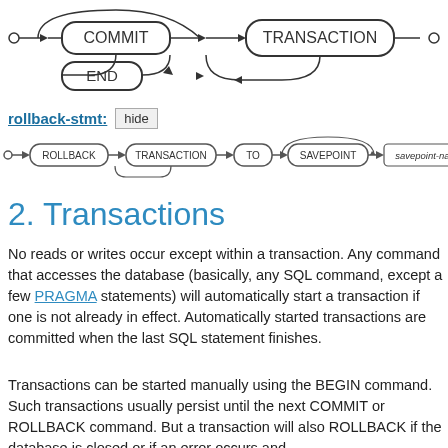[Figure (flowchart): Railroad diagram showing COMMIT/END nodes leading to TRANSACTION node with arrows]
rollback-stmt: hide
[Figure (flowchart): Railroad diagram for rollback-stmt: ROLLBACK -> TRANSACTION -> TO -> SAVEPOINT -> savepoint-name]
2. Transactions
No reads or writes occur except within a transaction. Any command that accesses the database (basically, any SQL command, except a few PRAGMA statements) will automatically start a transaction if one is not already in effect. Automatically started transactions are committed when the last SQL statement finishes.
Transactions can be started manually using the BEGIN command. Such transactions usually persist until the next COMMIT or ROLLBACK command. But a transaction will also ROLLBACK if the database is closed or if an error occurs and